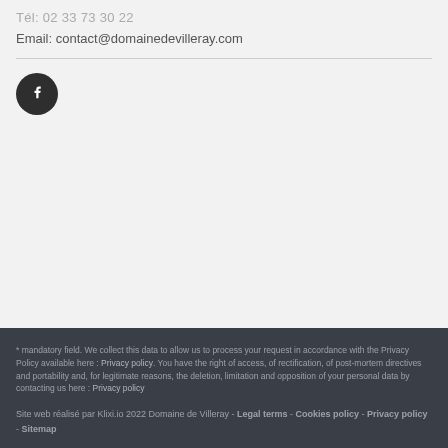Tél: 02 33 73 30 22
Email: contact@domainedevilleray.com
[Figure (illustration): Dark circular Facebook icon button]
* mandatory field. We collect this data to allow us to process your request in accordance with the Privacy Policy available here : Privacy policy. You have the right of access, of rectification, of post-mortem directives and portability and, for legitimate reasons, the deletion, limitation and opposition of your personal data by contacting us here : Privacy policy
Site web réalisé par Klixi.io 2022 Domaine de Villeray - Legal terms - Cookies policy - Privacy policy - Sitemap